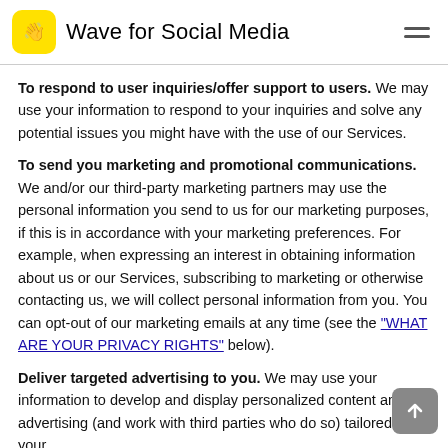Wave for Social Media
To respond to user inquiries/offer support to users. We may use your information to respond to your inquiries and solve any potential issues you might have with the use of our Services.
To send you marketing and promotional communications. We and/or our third-party marketing partners may use the personal information you send to us for our marketing purposes, if this is in accordance with your marketing preferences. For example, when expressing an interest in obtaining information about us or our Services, subscribing to marketing or otherwise contacting us, we will collect personal information from you. You can opt-out of our marketing emails at any time (see the "WHAT ARE YOUR PRIVACY RIGHTS" below).
Deliver targeted advertising to you. We may use your information to develop and display personalized content and advertising (and work with third parties who do so) tailored to your